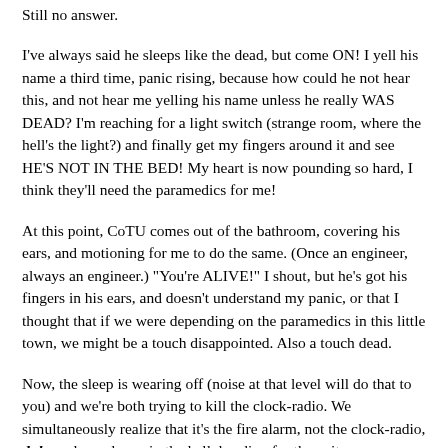Still no answer.
I've always said he sleeps like the dead, but come ON! I yell his name a third time, panic rising, because how could he not hear this, and not hear me yelling his name unless he really WAS DEAD? I'm reaching for a light switch (strange room, where the hell's the light?) and finally get my fingers around it and see HE'S NOT IN THE BED! My heart is now pounding so hard, I think they'll need the paramedics for me!
At this point, CoTU comes out of the bathroom, covering his ears, and motioning for me to do the same. (Once an engineer, always an engineer.) "You're ALIVE!" I shout, but he's got his fingers in his ears, and doesn't understand my panic, or that I thought that if we were depending on the paramedics in this little town, we might be a touch disappointed. Also a touch dead.
Now, the sleep is wearing off (noise at that level will do that to you) and we're both trying to kill the clock-radio. We simultaneously realize that it's the fire alarm, not the clock-radio, duh, and people are in the hall, heading for the exits.